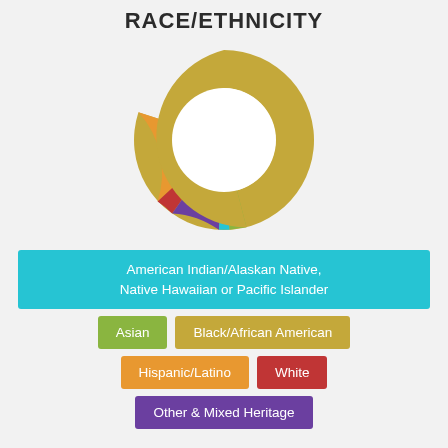RACE/ETHNICITY
[Figure (donut-chart): Race/Ethnicity]
American Indian/Alaskan Native, Native Hawaiian or Pacific Islander
Asian
Black/African American
Hispanic/Latino
White
Other & Mixed Heritage